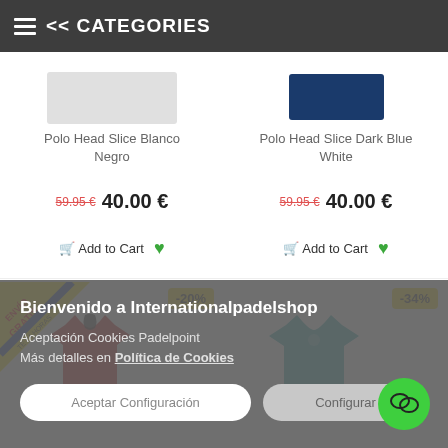<< CATEGORIES
Polo Head Slice Blanco Negro
Polo Head Slice Dark Blue White
59.95 €  40.00 €
59.95 €  40.00 €
Add to Cart
Add to Cart
-20%
-34%
Bienvenido a Internationalpadelshop
Aceptación Cookies Padelpoint
Más detalles en Política de Cookies
Aceptar Configuración
Configurar